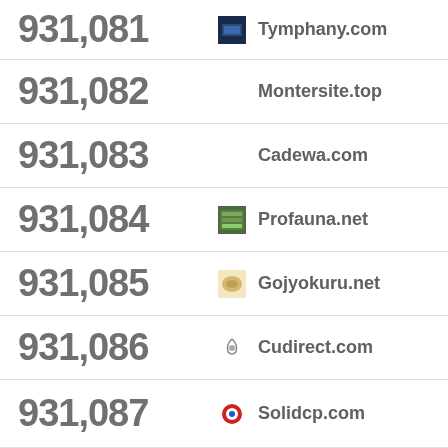931,081 Tymphany.com
931,082 Montersite.top
931,083 Cadewa.com
931,084 Profauna.net
931,085 Gojyokuru.net
931,086 Cudirect.com
931,087 Solidcp.com